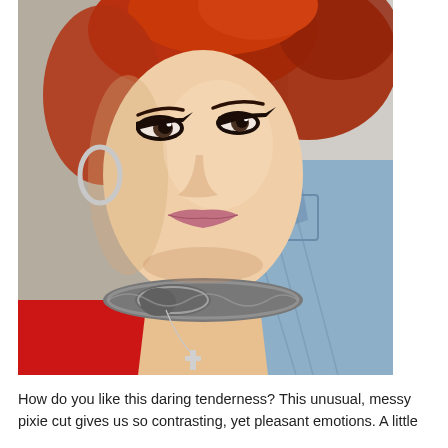[Figure (photo): Close-up portrait of a young woman with short, messy, orange-red pixie cut hair. She has dramatic eye makeup with winged eyeliner, a metallic snake-shaped choker necklace, a thin chain with a cross pendant, silver hoop earrings, a red strapless top, and a light denim jacket draped over one shoulder. Background is neutral gray/beige.]
How do you like this daring tenderness? This unusual, messy pixie cut gives us so contrasting, yet pleasant emotions. A little